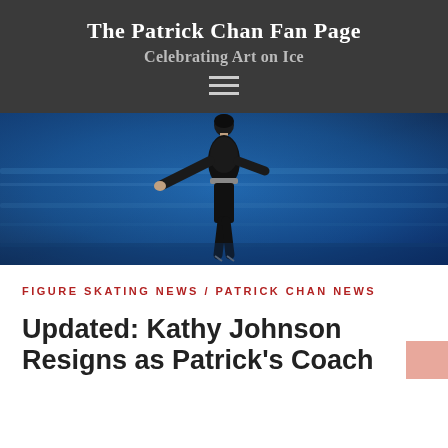The Patrick Chan Fan Page
Celebrating Art on Ice
[Figure (photo): A figure skater in a dark embellished costume performing on ice against a blue background]
FIGURE SKATING NEWS / PATRICK CHAN NEWS
Updated: Kathy Johnson Resigns as Patrick's Coach